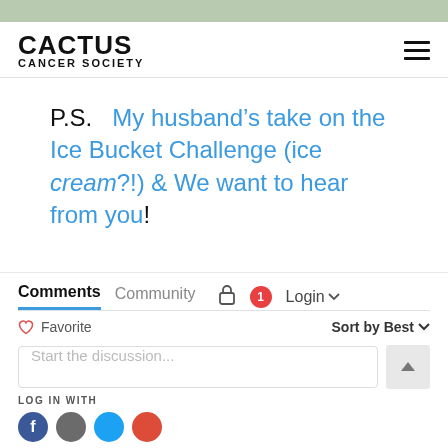CACTUS CANCER SOCIETY
P.S.  My husband's take on the Ice Bucket Challenge (ice cream?!) & We want to hear from you!
Comments  Community  [lock]  1  Login
♡ Favorite   Sort by Best
Start the discussion...
LOG IN WITH